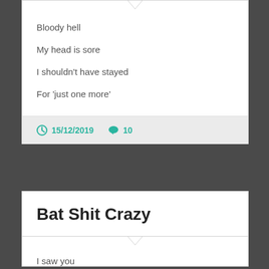Bloody hell
My head is sore
I shouldn't have stayed
For 'just one more'
15/12/2019   10
Bat Shit Crazy
I saw you